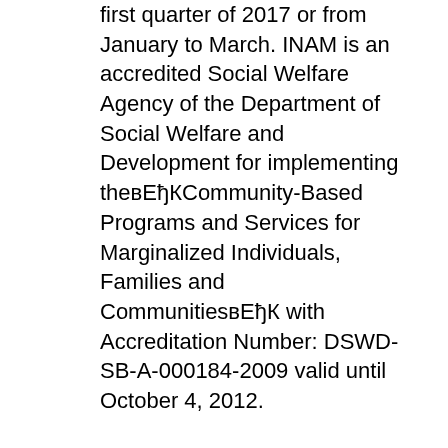first quarter of 2017 or from January to March. INAM is an accredited Social Welfare Agency of the Department of Social Welfare and Development for implementing theвЂҠCommunity-Based Programs and Services for Marginalized Individuals, Families and CommunitiesвЂҠ with Accreditation Number: DSWD-SB-A-000184-2009 valid until October 4, 2012.
DSWD Region VII, Cebu City. 36K likes. The official account of Department of Social Welfare and Development - Field Office VII. Malasakit sa mahihirap.... Jan 09, 2017В В· The Government Wants You: Government Jobs in BIR, TESDA, PPPCP, DSWD, and DOTC (UPDATED) By